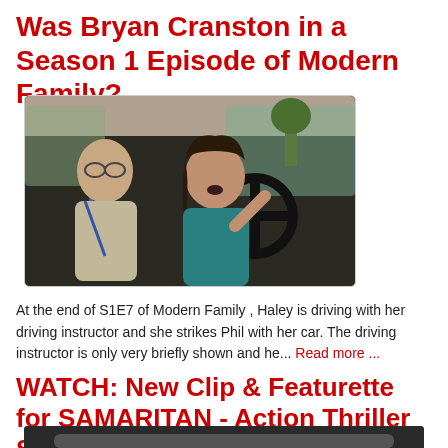Was Bryan Cranston in a Season 1 Episode of Modern Family?
[Figure (photo): Scene from Modern Family S1E7 showing a man in the passenger seat and a young woman in the driver's seat of a car, looking surprised]
At the end of S1E7 of Modern Family , Haley is driving with her driving instructor and she strikes Phil with her car. The driving instructor is only very briefly shown and he... Read more ...
WATCH: New Clip & Featurette for SAMARITAN - Action Thriller Starring...
[Figure (photo): Partial view of a second article image, cropped at bottom of page]